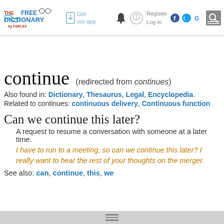The Free Dictionary by Farlex | Get our app | Register | Log in
continue (redirected from continues)
Also found in: Dictionary, Thesaurus, Legal, Encyclopedia.
Related to continues: continuous delivery, Continuous function
Can we continue this later?
A request to resume a conversation with someone at a later time.
I have to run to a meeting, so can we continue this later? I really want to hear the rest of your thoughts on the merger.
See also: can, continue, this, we